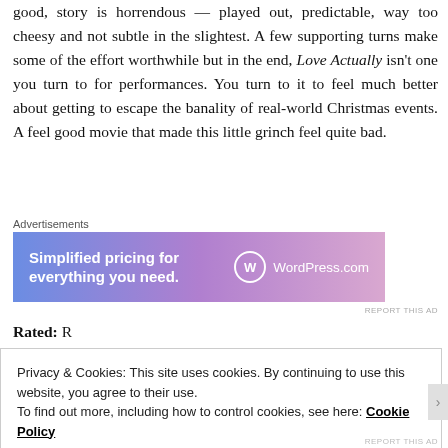good, story is horrendous — played out, predictable, way too cheesy and not subtle in the slightest. A few supporting turns make some of the effort worthwhile but in the end, Love Actually isn't one you turn to for performances. You turn to it to feel much better about getting to escape the banality of real-world Christmas events. A feel good movie that made this little grinch feel quite bad.
Advertisements
[Figure (other): WordPress.com advertisement banner with gradient blue-purple background. Text reads 'Simplified pricing for everything you need.' with WordPress.com logo on the right.]
Rated: R
Privacy & Cookies: This site uses cookies. By continuing to use this website, you agree to their use.
To find out more, including how to control cookies, see here: Cookie Policy